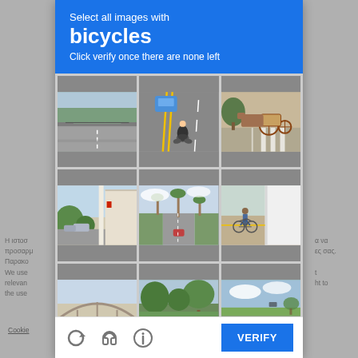Select all images with
bicycles
Click verify once there are none left
[Figure (screenshot): reCAPTCHA image grid with 9 street-view photos for bicycle selection]
Η ιστοσ... α να προσαρμ... ες σας. Παρακ... We use... t relevan... ht to the use...
Cookie...
[Figure (other): Bottom bar with refresh, audio, info icons and VERIFY button]